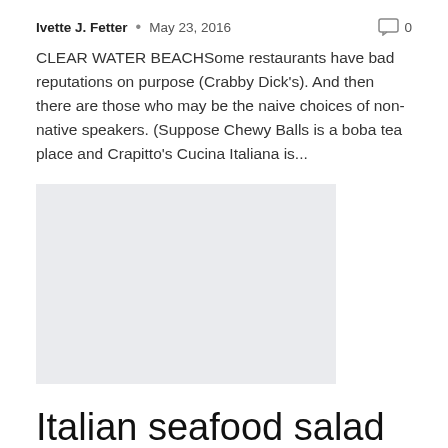Ivette J. Fetter • May 23, 2016  0
CLEAR WATER BEACHSome restaurants have bad reputations on purpose (Crabby Dick's). And then there are those who may be the naive choices of non-native speakers. (Suppose Chewy Balls is a boba tea place and Crapitto's Cucina Italiana is...
[Figure (photo): Light grey placeholder image rectangle]
Italian seafood salad
Ivette J. Fetter • May 1, 2016  0
TTo make the most of it, prepare it the day before your tasting, so that the seafood is imbued with Mediterranean flavors. Serve with bread or stir into cooked and cooled rice. SERVED 4€"8